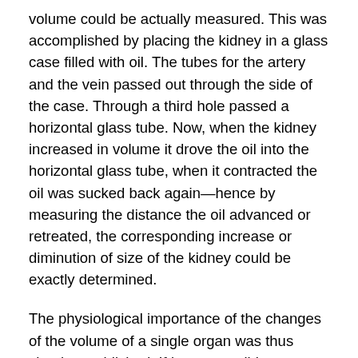volume could be actually measured. This was accomplished by placing the kidney in a glass case filled with oil. The tubes for the artery and the vein passed out through the side of the case. Through a third hole passed a horizontal glass tube. Now, when the kidney increased in volume it drove the oil into the horizontal glass tube, when it contracted the oil was sucked back again—hence by measuring the distance the oil advanced or retreated, the corresponding increase or diminution of size of the kidney could be exactly determined.
The physiological importance of the changes of the volume of a single organ was thus clearly established. If it was possible to record those changes in an isolated organ, why not try to record them of a part, a limb still connected with the body? The possibility conceived was soon accomplished. The apparatus was altered and improved. In its new form it could be used to record the